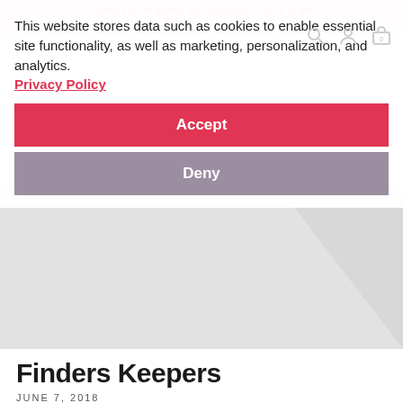Spend £50 on games and stationery in store to get £10 on your back
This website stores data such as cookies to enable essential site functionality, as well as marketing, personalization, and analytics. Privacy Policy
Accept
Deny
[Figure (photo): Light grey hero banner with diagonal lighter grey geometric shape]
Finders Keepers
JUNE 7, 2018